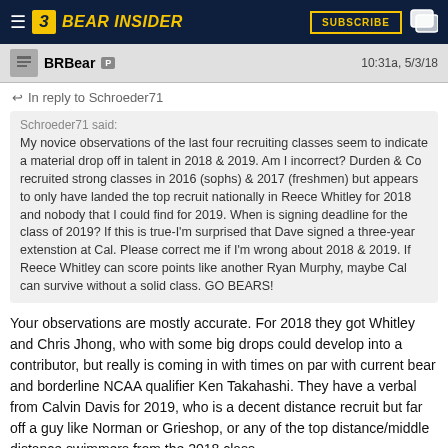Bear Insider — SUBSCRIBE
BRBear P   10:31a, 5/3/18
↩ In reply to Schroeder71
Schroeder71 said:
My novice observations of the last four recruiting classes seem to indicate a material drop off in talent in 2018 & 2019. Am I incorrect? Durden & Co recruited strong classes in 2016 (sophs) & 2017 (freshmen) but appears to only have landed the top recruit nationally in Reece Whitley for 2018 and nobody that I could find for 2019. When is signing deadline for the class of 2019? If this is true-I'm surprised that Dave signed a three-year extenstion at Cal. Please correct me if I'm wrong about 2018 & 2019. If Reece Whitley can score points like another Ryan Murphy, maybe Cal can survive without a solid class. GO BEARS!
Your observations are mostly accurate. For 2018 they got Whitley and Chris Jhong, who with some big drops could develop into a contributor, but really is coming in with times on par with current bear and borderline NCAA qualifier Ken Takahashi. They have a verbal from Calvin Davis for 2019, who is a decent distance recruit but far off a guy like Norman or Grieshop, or any of the top distance/middle distance swimmers from the 2018 class.